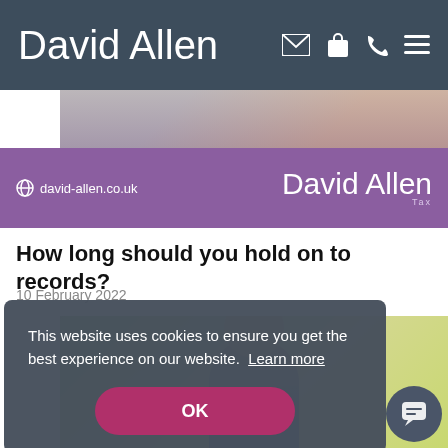David Allen
[Figure (screenshot): Purple banner with globe icon, URL david-allen.co.uk, and David Allen Tax logo on the right]
How long should you hold on to records?
10 February 2022
[Figure (photo): Partial photo of a professional man with plants in the background]
This website uses cookies to ensure you get the best experience on our website. Learn more
OK